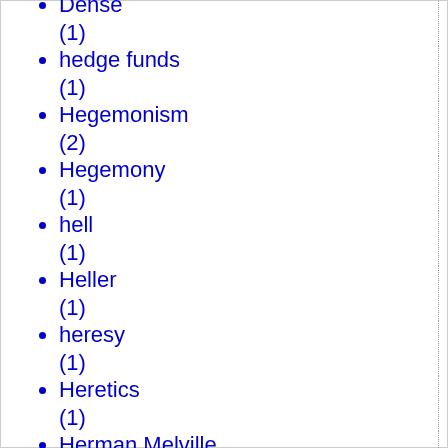Dense (1)
hedge funds (1)
Hegemonism (2)
Hegemony (1)
hell (1)
Heller (1)
heresy (1)
Heretics (1)
Herman Melville (1)
Hezbollah (1)
HHS mandate (4)
Hidden